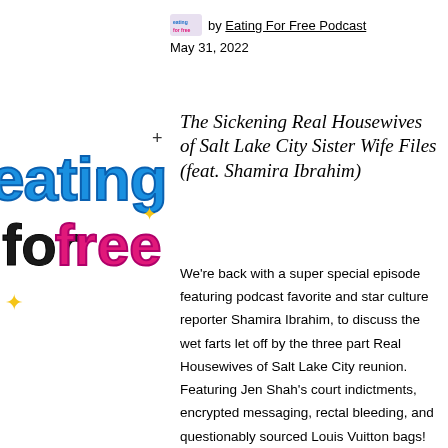by Eating For Free Podcast
May 31, 2022
[Figure (logo): Eating For Free podcast logo with colorful bubbly text in blue, pink, and black reading 'eating for free']
The Sickening Real Housewives of Salt Lake City Sister Wife Files (feat. Shamira Ibrahim)
We're back with a super special episode featuring podcast favorite and star culture reporter Shamira Ibrahim, to discuss the wet farts let off by the three part Real Housewives of Salt Lake City reunion. Featuring Jen Shah's court indictments, encrypted messaging, rectal bleeding, and questionably sourced Louis Vuitton bags!  You can follow and find Shamira's work and socials here